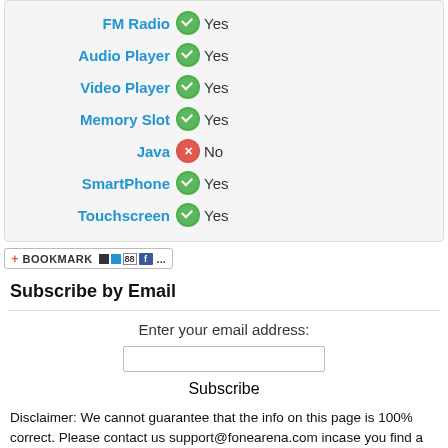FM Radio Yes
Audio Player Yes
Video Player Yes
Memory Slot Yes
Java No
SmartPhone Yes
Touchscreen Yes
[Figure (screenshot): Bookmark bar with social sharing icons including a red plus BOOKMARK button, small square icons, and Facebook 'f' icon with ellipsis]
Subscribe by Email
Enter your email address:
Subscribe
Disclaimer: We cannot guarantee that the info on this page is 100% correct. Please contact us support@fonearena.com incase you find a mistake